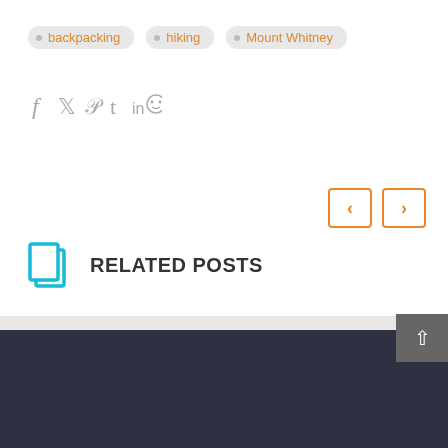backpacking
hiking
Mount Whitney
[Figure (illustration): Social media share icons: Facebook, Twitter, Pinterest, Tumblr, LinkedIn, Reddit]
[Figure (other): Navigation arrows: left arrow and right arrow buttons in orange outline style]
RELATED POSTS
Mt. Whitney Revenge (Part 1)
09 Feb 2020
3